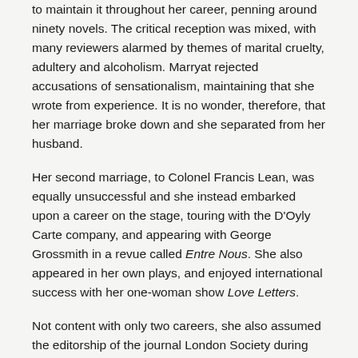to maintain it throughout her career, penning around ninety novels. The critical reception was mixed, with many reviewers alarmed by themes of marital cruelty, adultery and alcoholism. Marryat rejected accusations of sensationalism, maintaining that she wrote from experience. It is no wonder, therefore, that her marriage broke down and she separated from her husband.
Her second marriage, to Colonel Francis Lean, was equally unsuccessful and she instead embarked upon a career on the stage, touring with the D'Oyly Carte company, and appearing with George Grossmith in a revue called Entre Nous. She also appeared in her own plays, and enjoyed international success with her one-woman show Love Letters.
Not content with only two careers, she also assumed the editorship of the journal London Society during the 1870s, and also contributed to many others. It was while working as a journalist that she developed a lifelong belief in